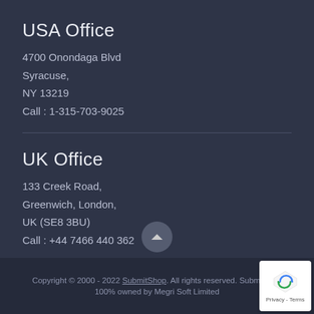USA Office
4700 Onondaga Blvd
Syracuse,
NY 13219
Call : 1-315-703-9025
UK Office
133 Creek Road,
Greenwich, London,
UK (SE8 3BU)
Call : +44 7466 440 362
Copyright © 2000 - 2022 SubmitShop. All rights reserved. Submitshop 100% owned by Megri Soft Limited